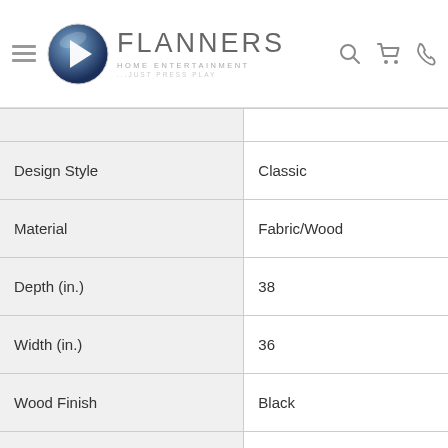Flanners Home Entertainment - Just Press Play
| Attribute | Value |
| --- | --- |
| Design Style | Classic |
| Material | Fabric/Wood |
| Depth (in.) | 38 |
| Width (in.) | 36 |
| Wood Finish | Black |
| Foldable | No |
| Color | Black |